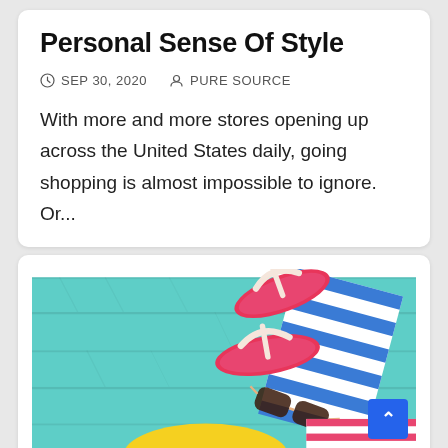Personal Sense Of Style
SEP 30, 2020   PURE SOURCE
With more and more stores opening up across the United States daily, going shopping is almost impossible to ignore. Or...
[Figure (photo): Summer beach items on a teal wooden surface: pink flip-flops, blue and white striped towel/bag, sunglasses, yellow hat, and red and white striped fabric.]